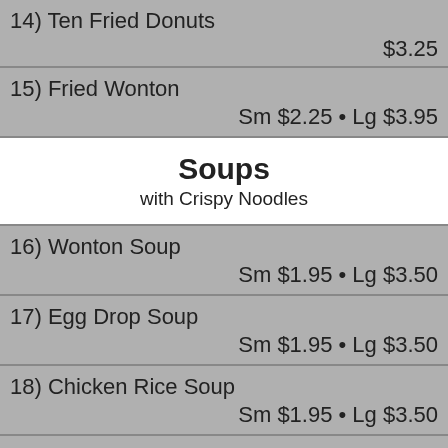14) Ten Fried Donuts  $3.25
15) Fried Wonton  Sm $2.25 • Lg $3.95
Soups
with Crispy Noodles
16) Wonton Soup  Sm $1.95 • Lg $3.50
17) Egg Drop Soup  Sm $1.95 • Lg $3.50
18) Chicken Rice Soup  Sm $1.95 • Lg $3.50
19) Chicken Noodle Soup  Sm $1.95 • Lg $3.50
20) Wonton & Egg Drop Soup  Sm $2.25 • Lg $3.95